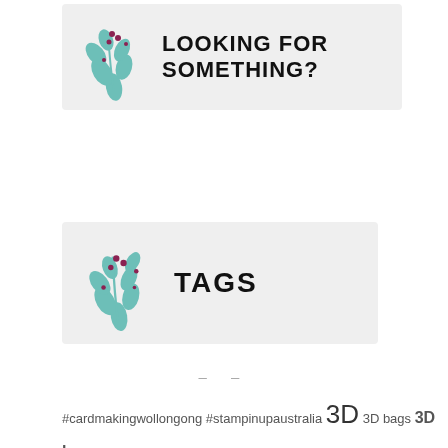[Figure (illustration): Decorative banner with botanical leaf illustration and bold text 'LOOKING FOR SOMETHING?' on light grey background]
[Figure (illustration): Decorative banner with botanical leaf illustration and bold text 'TAGS' on light grey background]
– –
#cardmakingwollongong #stampinupaustralia 3D 3D bags 3D boxes 3D projects 12 weeks of Christmas 2017 Holiday Catalogue 2017 Stampin' Up! Catalogue 2018 Stampin' Up! Holiday Catalogue 2019 Stampin' Up! Holiday Catalogue